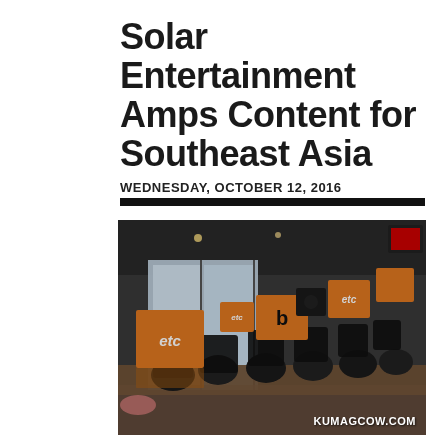Solar Entertainment Amps Content for Southeast Asia
WEDNESDAY, OCTOBER 12, 2016
[Figure (photo): Indoor venue photo showing rows of chairs with orange branded table cards including 'etc' and 'b' logos, large windows in background, watermark KUMAGCOW.COM in bottom right corner]